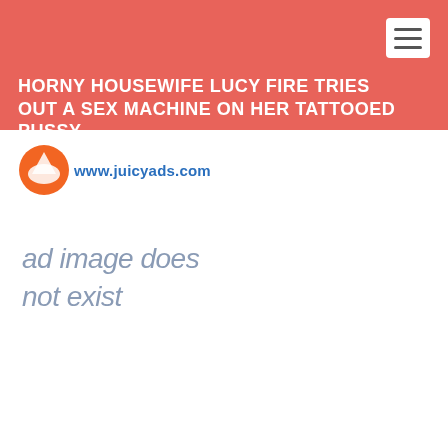HORNY HOUSEWIFE LUCY FIRE TRIES OUT A SEX MACHINE ON HER TATTOOED PUSSY
[Figure (logo): JuicyAds logo with orange circular icon and text www.juicyads.com]
[Figure (other): Ad image placeholder text reading 'ad image does not exist' in grey italic font]